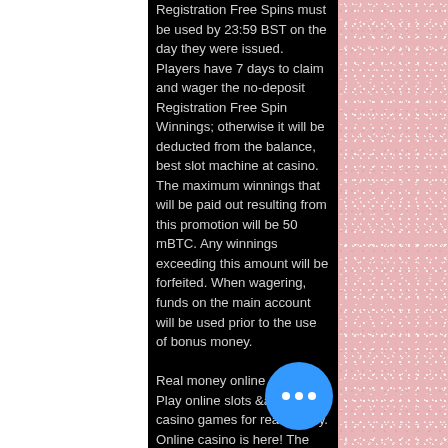Registration Free Spins must be used by 23:59 BST on the day they were issued. Players have 7 days to claim and wager the no-deposit Registration Free Spin Winnings; otherwise it will be deducted from the balance, best slot machine at casino. The maximum winnings that will be paid out resulting from this promotion will be 50 mBTC. Any winnings exceeding this amount will be forfeited. When wagering, funds on the main account will be used prior to the use of bonus money.
Real money online casino. Play online slots &amp; casino games for real money. Online casino is here! The world's biggest #online #casino! join us in #sunny #malta by uploading your #cv on the link below! link to our positions: videoslotscareers. — regular slot games, sometimes referred to as classic slots, are the most common variety you (both online and off). These are based. Try over 200 free online casino games: slots,